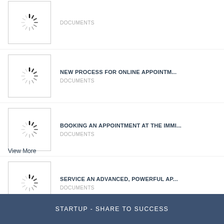DOCUMENTS
NEW PROCESS FOR ONLINE APPOINTM... | DOCUMENTS
BOOKING AN APPOINTMENT AT THE IMMI... | DOCUMENTS
SERVICE AN ADVANCED, POWERFUL AP... | DOCUMENTS
View More
STARTUP - SHARE TO SUCCESS